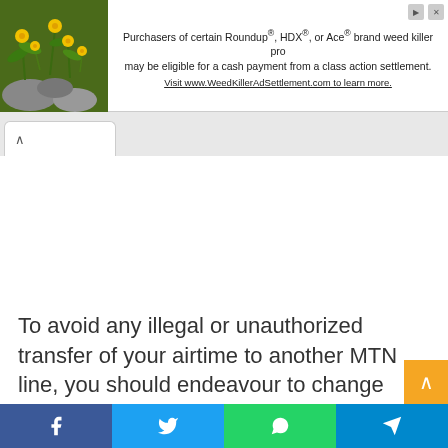[Figure (infographic): Advertisement banner with a plant/flower image on the left and text about Roundup, HDX, or Ace brand weed killer class action settlement on the right. Visit www.WeedKillerAdSettlement.com to learn more.]
To avoid any illegal or unauthorized transfer of your airtime to another MTN line, you should endeavour to change the default pin and insert numbers that you can easily recall. Basically, there are two ways you can change or rest